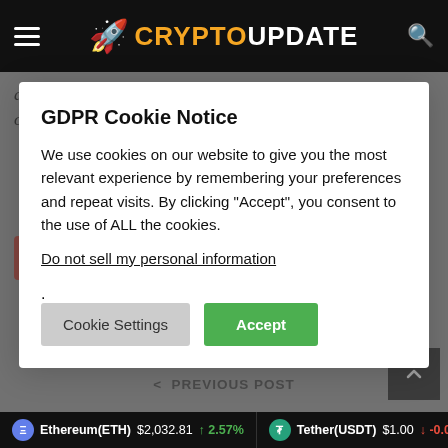CRYPTOUPDATE
are entirely their own and do not necessarily reflect those of BTC Inc or Bitcoin Magazine.
GDPR Cookie Notice
We use cookies on our website to give you the most relevant experience by remembering your preferences and repeat visits. By clicking “Accept”, you consent to the use of ALL the cookies.
Do not sell my personal information.
Cookie Settings   Accept
< PREVIOUS POST
Ethereum(ETH) $2,032.81 ↑ 2.57%   Tether(USDT) $1.00 ↓ -0.06%